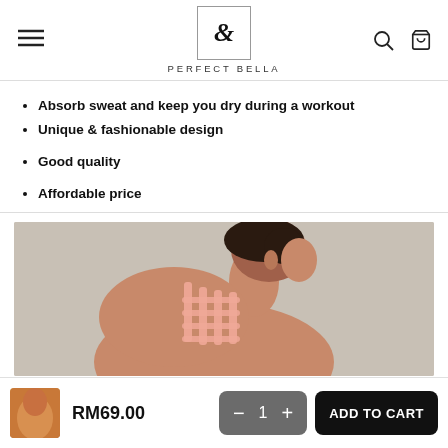PERFECT BELLA
Absorb sweat and keep you dry during a workout
Unique & fashionable design
Good quality
Affordable price
[Figure (photo): Woman wearing a pink strappy back sports bra/top, shown from the back/side profile against a gray background]
RM69.00
− 1 +
ADD TO CART